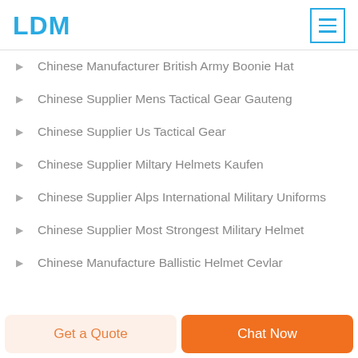LDM
Chinese Manufacturer British Army Boonie Hat
Chinese Supplier Mens Tactical Gear Gauteng
Chinese Supplier Us Tactical Gear
Chinese Supplier Miltary Helmets Kaufen
Chinese Supplier Alps International Military Uniforms
Chinese Supplier Most Strongest Military Helmet
Chinese Manufacture Ballistic Helmet Cevlar